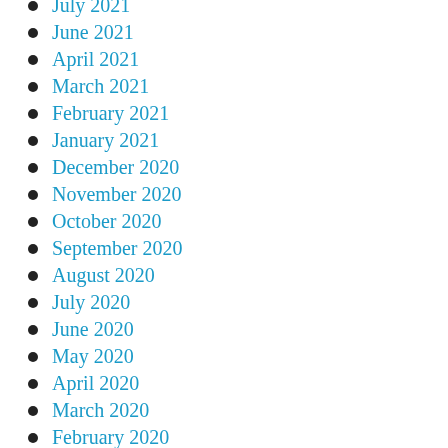July 2021
June 2021
April 2021
March 2021
February 2021
January 2021
December 2020
November 2020
October 2020
September 2020
August 2020
July 2020
June 2020
May 2020
April 2020
March 2020
February 2020